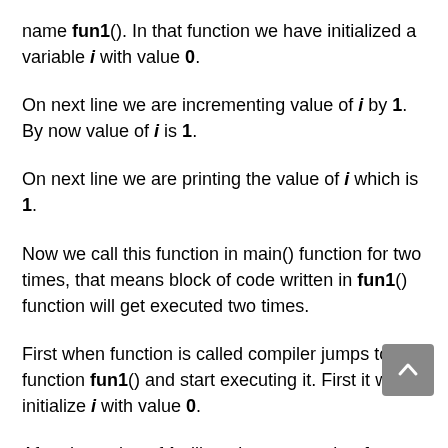name fun1(). In that function we have initialized a variable i with value 0.
On next line we are incrementing value of i by 1. By now value of i is 1.
On next line we are printing the value of i which is 1.
Now we call this function in main() function for two times, that means block of code written in fun1() function will get executed two times.
First when function is called compiler jumps to function fun1() and start executing it. First it will initialize i with value 0.
After that value of i will get incremented to 1